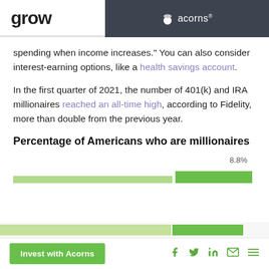grow | acorns
spending when income increases.” You can also consider interest-earning options, like a health savings account.
In the first quarter of 2021, the number of 401(k) and IRA millionaires reached an all-time high, according to Fidelity, more than double from the previous year.
Percentage of Americans who are millionaires
[Figure (bar-chart): Percentage of Americans who are millionaires]
Invest with Acorns